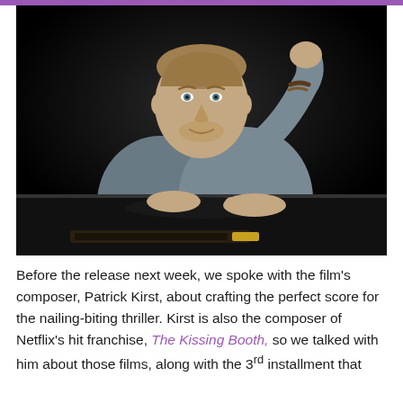[Figure (photo): A man in a grey button-up shirt leaning over a grand piano, smiling slightly, photographed against a dark/black background. He has short hair and a bracelet on his wrist, with both hands resting on the piano lid.]
Before the release next week, we spoke with the film's composer, Patrick Kirst, about crafting the perfect score for the nailing-biting thriller. Kirst is also the composer of Netflix's hit franchise, The Kissing Booth, so we talked with him about those films, along with the 3rd installment that